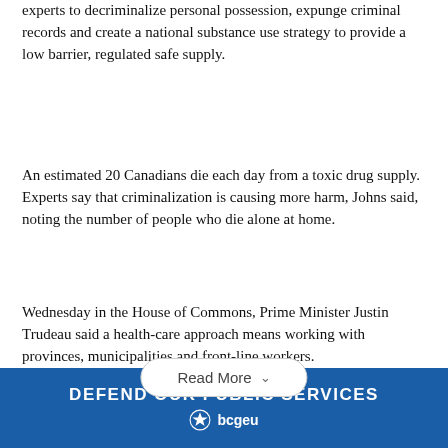experts to decriminalize personal possession, expunge criminal records and create a national substance use strategy to provide a low barrier, regulated safe supply.
An estimated 20 Canadians die each day from a toxic drug supply. Experts say that criminalization is causing more harm, Johns said, noting the number of people who die alone at home.
Wednesday in the House of Commons, Prime Minister Justin Trudeau said a health-care approach means working with provinces, municipalities and front-line workers.
"We're taking concrete action to tackle the opioid problem."
[Figure (infographic): Blue banner reading DEFEND OUR PUBLIC SERVICES with BCGEU star logo below]